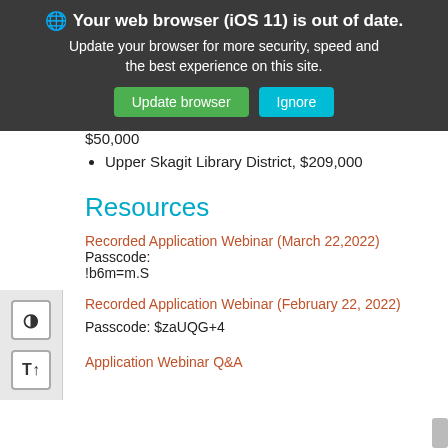[Figure (screenshot): Browser update warning banner with dark background, showing 'Your web browser (iOS 11) is out of date. Update your browser for more security, speed and the best experience on this site.' with green 'Update browser' button and teal 'Ignore' button]
$50,000
Upper Skagit Library District, $209,000
Resources
Recorded Application Webinar (March 22,2022) Passcode: !b6m=m.S
Recorded Application Webinar (February 22, 2022)
Passcode: $zaUQG+4
Application Webinar Q&A